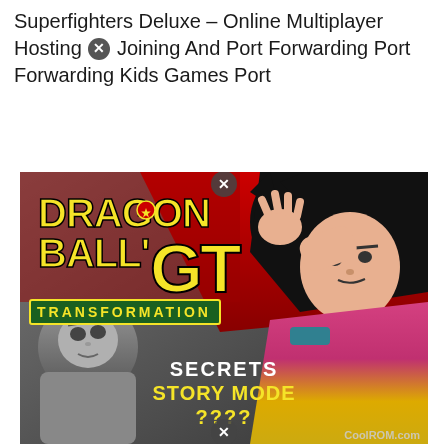Superfighters Deluxe – Online Multiplayer Hosting Joining And Port Forwarding Port Forwarding Kids Games Port
[Figure (illustration): Dragon Ball GT Transformation game cover art showing the title logo in yellow with 'TRANSFORMATION' text in a green banner, SSJ4 Goku character on the right with long black hair wearing pink/red outfit, Super Baby character on the lower left in grey, and white text reading 'SECRETS STORY MODE ????' overlaid on the image. CoolROM.com watermark in bottom right. Two circular close/X buttons overlaid on the image.]